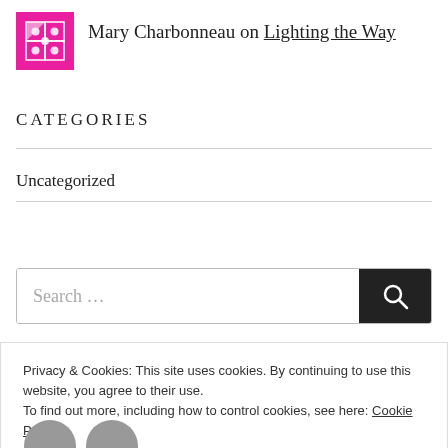Mary Charbonneau on Lighting the Way
CATEGORIES
Uncategorized
Search ...
Privacy & Cookies: This site uses cookies. By continuing to use this website, you agree to their use.
To find out more, including how to control cookies, see here: Cookie Policy
Close and accept